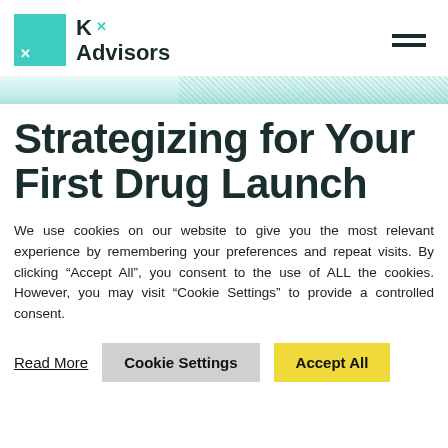Kx Advisors
Strategizing for Your First Drug Launch
We use cookies on our website to give you the most relevant experience by remembering your preferences and repeat visits. By clicking “Accept All”, you consent to the use of ALL the cookies. However, you may visit “Cookie Settings” to provide a controlled consent.
Read More | Cookie Settings | Accept All